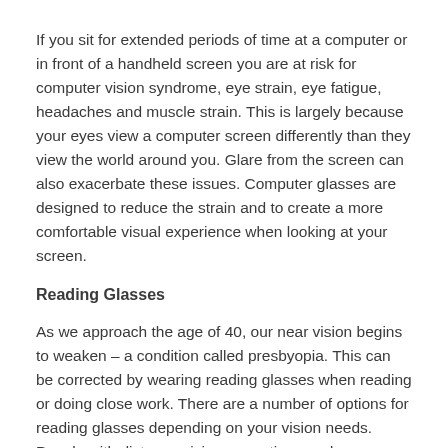If you sit for extended periods of time at a computer or in front of a handheld screen you are at risk for computer vision syndrome, eye strain, eye fatigue, headaches and muscle strain. This is largely because your eyes view a computer screen differently than they view the world around you. Glare from the screen can also exacerbate these issues. Computer glasses are designed to reduce the strain and to create a more comfortable visual experience when looking at your screen.
Reading Glasses
As we approach the age of 40, our near vision begins to weaken – a condition called presbyopia. This can be corrected by wearing reading glasses when reading or doing close work. There are a number of options for reading glasses depending on your vision needs. People with distance vision correction needs may prefer bifocal